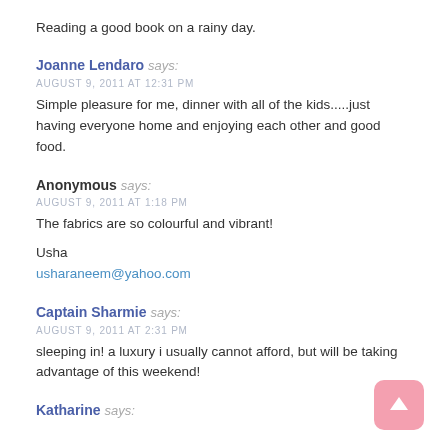Reading a good book on a rainy day.
Joanne Lendaro says:
AUGUST 9, 2011 AT 12:31 PM
Simple pleasure for me, dinner with all of the kids.....just having everyone home and enjoying each other and good food.
Anonymous says:
AUGUST 9, 2011 AT 1:18 PM
The fabrics are so colourful and vibrant!

Usha
usharaneem@yahoo.com
Captain Sharmie says:
AUGUST 9, 2011 AT 2:31 PM
sleeping in! a luxury i usually cannot afford, but will be taking advantage of this weekend!
Katharine says: